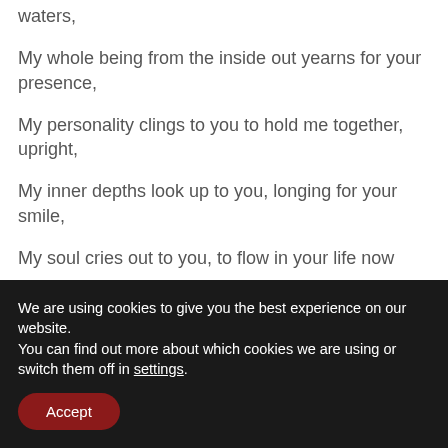waters,
My whole being from the inside out yearns for your presence,
My personality clings to you to hold me together, upright,
My inner depths look up to you, longing for your smile,
My soul cries out to you, to flow in your life now
We are using cookies to give you the best experience on our website.
You can find out more about which cookies we are using or switch them off in settings.
Accept